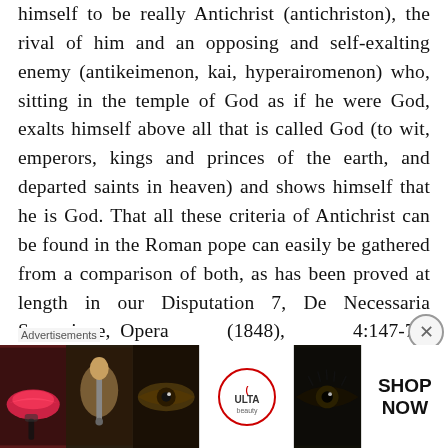himself to be really Antichrist (antichriston), the rival of him and an opposing and self-exalting enemy (antikeimenon, kai, hyperairomenon) who, sitting in the temple of God as if he were God, exalts himself above all that is called God (to wit, emperors, kings and princes of the earth, and departed saints in heaven) and shows himself that he is God. That all these criteria of Antichrist can be found in the Roman pope can easily be gathered from a comparison of both, as has been proved at length in our Disputation 7, De Necessaria Secessione, Opera (1848), 4:147-77. (Francis Turretin. Institutes of Elenctic Theology, Vol...
Advertisements
[Figure (photo): Advertisement banner showing makeup/beauty images: lips, makeup brush, eye, ULTA beauty logo, another eye close-up, and a SHOP NOW call to action.]